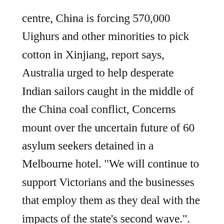centre, China is forcing 570,000 Uighurs and other minorities to pick cotton in Xinjiang, report says, Australia urged to help desperate Indian sailors caught in the middle of the China coal conflict, Concerns mount over the uncertain future of 60 asylum seekers detained in a Melbourne hotel. "We will continue to support Victorians and the businesses that employ them as they deal with the impacts of the state's second wave.". Watch SBS World News live daily at 6:30pm on TV and on our app. The State of Emergency has been extended to the same time, and regional Victoria's stage three lockdown will also end then. The hard-won success has allowed people in Melbourne to return to their lives